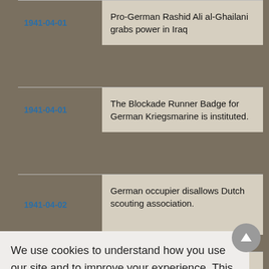1941-04-01 | Pro-German Rashid Ali al-Ghailani grabs power in Iraq
1941-04-01 | The Blockade Runner Badge for German Kriegsmarine is instituted.
1941-04-02 | German occupier disallows Dutch scouting association.
We use cookies to understand how you use our site and to improve your experience. This includes personalizing content for you and for the display and tracking of advertising. By continuing to use our site, you accept and agree to our use of cookies.  Privacy Policy
Got it!
ship explodes)